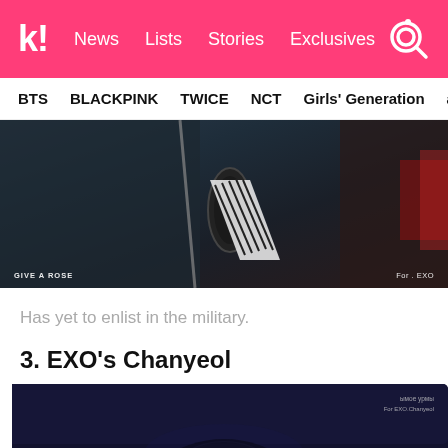k! News Lists Stories Exclusives
BTS BLACKPINK TWICE NCT Girls' Generation aespa
[Figure (photo): Close-up photo of person holding a microphone in dark setting, wearing dark turtleneck. Watermark text: GIVE A ROSE (bottom left) and For. EXO (bottom right).]
Has yet to enlist in the military.
3. EXO's Chanyeol
[Figure (photo): Dark photo showing top of person's head with dark hair against dark blue background. Watermark text visible in top right corner.]